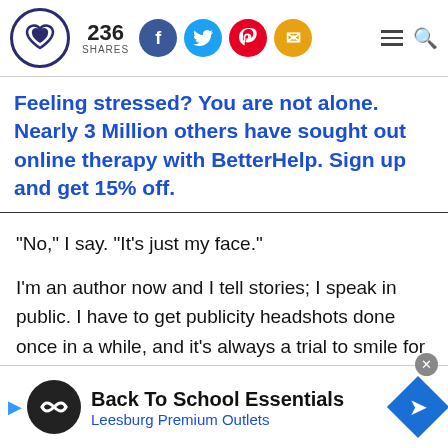236 SHARES — logo and social icons header
Feeling stressed? You are not alone. Nearly 3 Million others have sought out online therapy with BetterHelp. Sign up and get 15% off.
"No," I say. "It's just my face."
I'm an author now and I tell stories; I speak in public. I have to get publicity headshots done once in a while, and it's always a trial to smile for the camera...
[Figure (screenshot): Bottom advertisement banner: Back To School Essentials — Leesburg Premium Outlets]